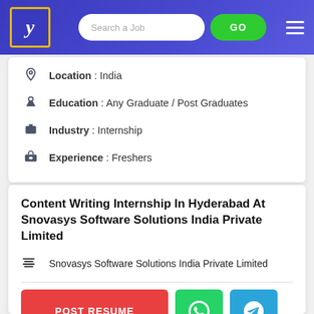[Figure (screenshot): Job portal navbar with logo, search bar, GO button, and hamburger menu on blue gradient background]
Location : India
Education : Any Graduate / Post Graduates
Industry : Internship
Experience : Freshers
Content Writing Internship In Hyderabad At Snovasys Software Solutions India Private Limited
Snovasys Software Solutions India Private Limited
[Figure (screenshot): Action buttons: POST RESUME (red), WhatsApp (green), Telegram (blue)]
Industry : Internship